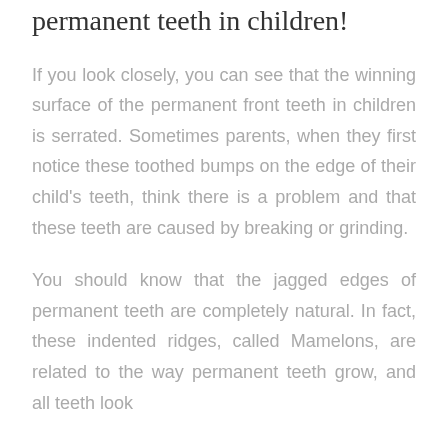permanent teeth in children!
If you look closely, you can see that the winning surface of the permanent front teeth in children is serrated. Sometimes parents, when they first notice these toothed bumps on the edge of their child's teeth, think there is a problem and that these teeth are caused by breaking or grinding.
You should know that the jagged edges of permanent teeth are completely natural. In fact, these indented ridges, called Mamelons, are related to the way permanent teeth grow, and all teeth look